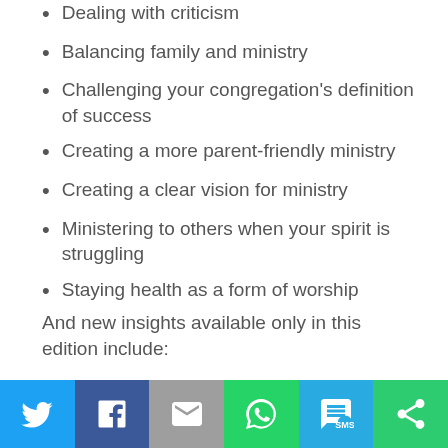Dealing with criticism
Balancing family and ministry
Challenging your congregation's definition of success
Creating a more parent-friendly ministry
Creating a clear vision for ministry
Ministering to others when your spirit is struggling
Staying health as a form of worship
And new insights available only in this edition include:
[Figure (infographic): Social sharing bar with icons for Twitter, Facebook, Email, WhatsApp, SMS, and another share option]